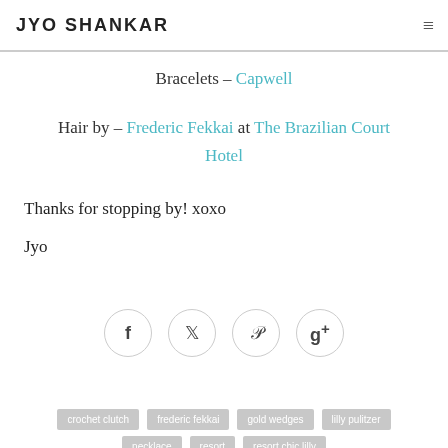JYO SHANKAR
Bracelets – Capwell
Hair by – Frederic Fekkai at The Brazilian Court Hotel
Thanks for stopping by! xoxo
Jyo
[Figure (other): Social sharing icons: Facebook, Twitter, Pinterest, Google+, each in a circular bordered button]
crochet clutch   frederic fekkai   gold wedges   lilly pulitzer